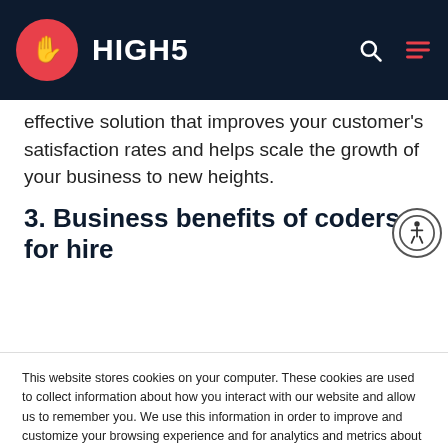HIGH5
effective solution that improves your customer's satisfaction rates and helps scale the growth of your business to new heights.
3. Business benefits of coders for hire
This website stores cookies on your computer. These cookies are used to collect information about how you interact with our website and allow us to remember you. We use this information in order to improve and customize your browsing experience and for analytics and metrics about our visitors both on this website and other media. To find out more about the cookies we use, see our Privacy Policy.
If you decline, your information won't be tracked when you visit this website. A single cookie will be used in your browser to remember your preference not to be tracked.
Accept   Decline